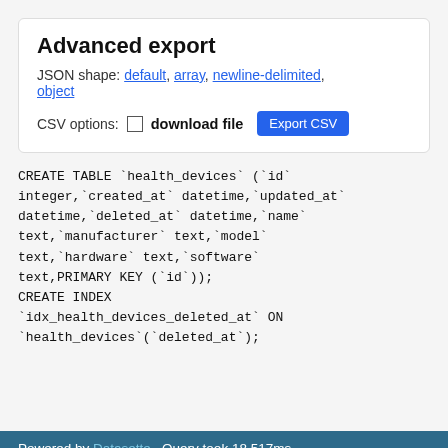Advanced export
JSON shape: default, array, newline-delimited, object
CSV options:  download file  Export CSV
Powered by Datasette · Query took 18.517ms